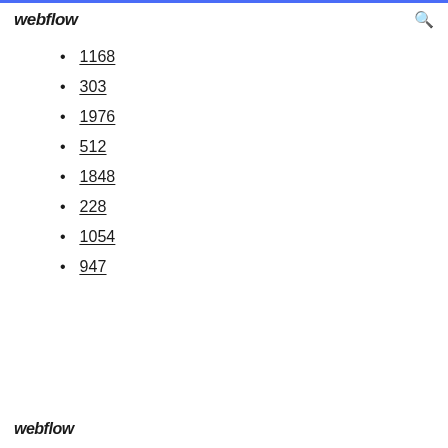webflow
1168
303
1976
512
1848
228
1054
947
webflow